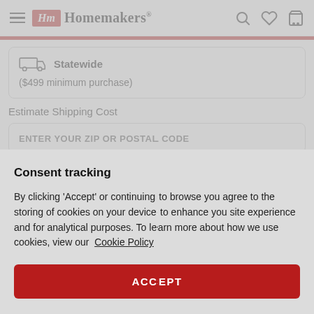Homemakers
Statewide
($499 minimum purchase)
Estimate Shipping Cost
ENTER YOUR ZIP OR POSTAL CODE
Consent tracking
By clicking 'Accept' or continuing to browse you agree to the storing of cookies on your device to enhance you site experience and for analytical purposes. To learn more about how we use cookies, view our  Cookie Policy
ACCEPT